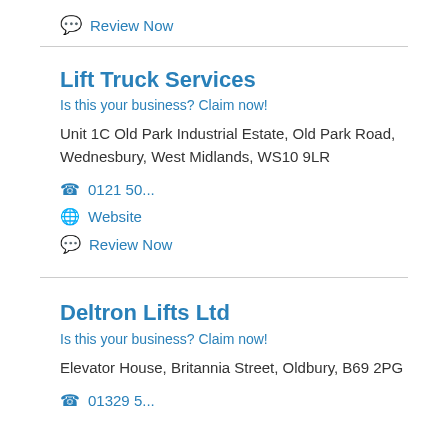💬 Review Now
Lift Truck Services
Is this your business? Claim now!
Unit 1C Old Park Industrial Estate, Old Park Road, Wednesbury, West Midlands, WS10 9LR
📞 0121 50...
🌐 Website
💬 Review Now
Deltron Lifts Ltd
Is this your business? Claim now!
Elevator House, Britannia Street, Oldbury, B69 2PG
📞 01329 5...